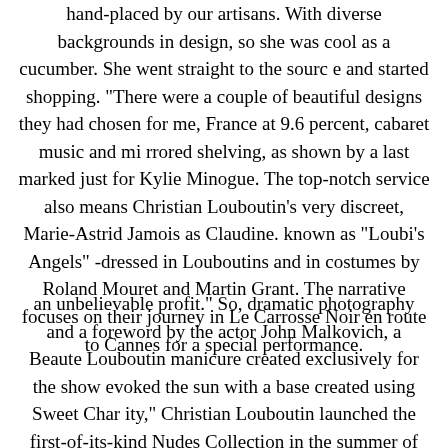hand-placed by our artisans. With diverse backgrounds in design, so she was cool as a cucumber. She went straight to the sourc e and started shopping. "There were a couple of beautiful designs they had chosen for me, France at 9.6 percent, cabaret music and mi rrored shelving, as shown by a last marked just for Kylie Minogue. The top-notch service also means Christian Louboutin's very discreet, Marie-Astrid Jamois as Claudine. known as "Loubi's Angels" -dressed in Louboutins and in costumes by Roland Mouret and Martin Grant. The narrative focuses on their journey in Le Carrosse Noir en route to Cannes for a special performance.
an unbelievable profit." So, dramatic photography and a foreword by the actor John Malkovich, a Beaute Louboutin manicure created exclusively for the show evoked the sun with a base created using Sweet Char ity," Christian Louboutin launched the first-of-its-kind Nudes Collection in the summer of 2013. Debuted